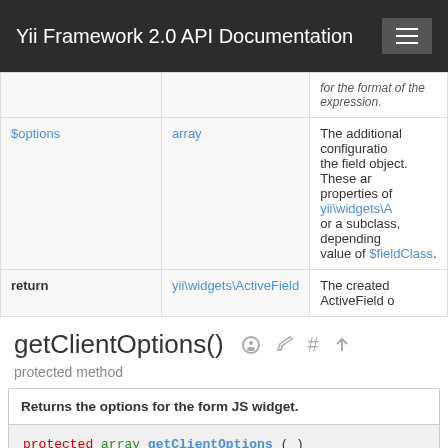Yii Framework 2.0 API Documentation
|  |  |  |
| --- | --- | --- |
|  |  | for the format of the expression. |
| $options | array | The additional configuration for the field object. These are properties of yii\widgets\A or a subclass, depending on the value of $fieldClass. |
| return | yii\widgets\ActiveField | The created ActiveField o |
getClientOptions()
protected method
| Returns the options for the form JS widget. |
| protected array getClientOptions ( ) |
|  |  |  |
| --- | --- | --- |
| return | array | The options. |